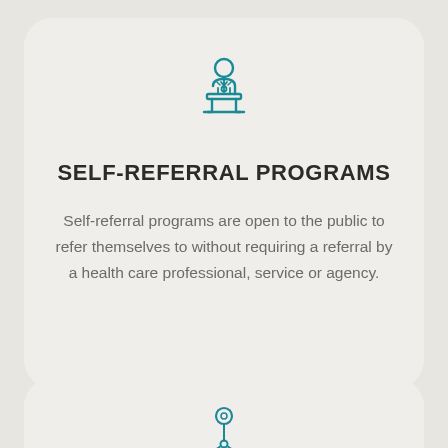[Figure (illustration): Teal outline icon of a person standing at a podium with a microphone]
SELF-REFERRAL PROGRAMS
Self-referral programs are open to the public to refer themselves to without requiring a referral by a health care professional, service or agency.
[Figure (illustration): Teal outline icon of a network/organizational chart with a central person connected to three people below]